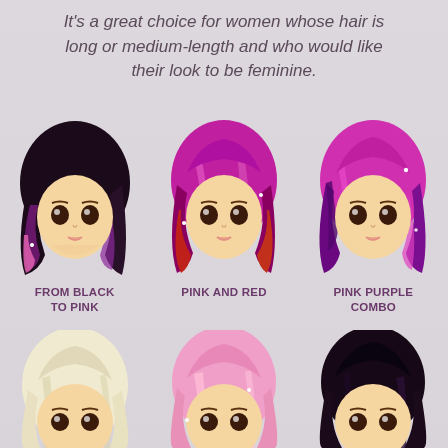It's a great choice for women whose hair is long or medium-length and who would like their look to be feminine.
[Figure (illustration): Anime-style illustration of a girl with black-to-pink ombre hair, medium length]
FROM BLACK TO PINK
[Figure (illustration): Anime-style illustration of a girl with pink and red hair, medium length]
PINK AND RED
[Figure (illustration): Anime-style illustration of a girl with pink-purple combo hair, medium length]
PINK PURPLE COMBO
[Figure (illustration): Anime-style illustration of a girl with blonde/white hair, partially visible]
[Figure (illustration): Anime-style illustration of a girl with pink hair, partially visible]
[Figure (illustration): Anime-style illustration of a girl with black hair, partially visible]